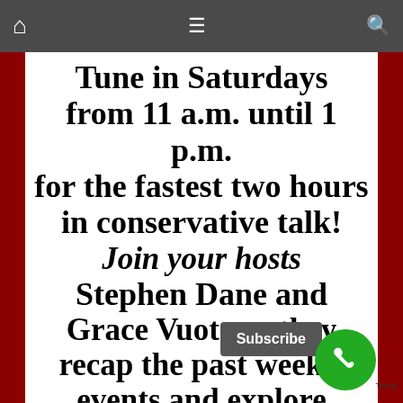Navigation bar with home, menu, and search icons
Tune in Saturdays from 11 a.m. until 1 p.m. for the fastest two hours in conservative talk! Join your hosts Stephen Dane and Grace Vuoto as they recap the past week's events and explore conversations about